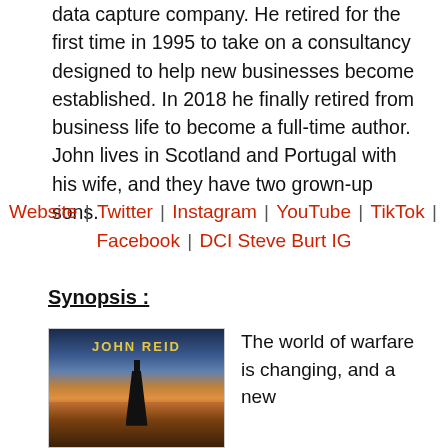data capture company. He retired for the first time in 1995 to take on a consultancy designed to help new businesses become established. In 2018 he finally retired from business life to become a full-time author. John lives in Scotland and Portugal with his wife, and they have two grown-up sons.
Website | Twitter | Instagram | YouTube | TikTok | Facebook | DCI Steve Burt IG
Synopsis :
[Figure (photo): Book cover showing JOHN REID in yellow text over a dramatic sky with a dark tower silhouette]
The world of warfare is changing, and a new